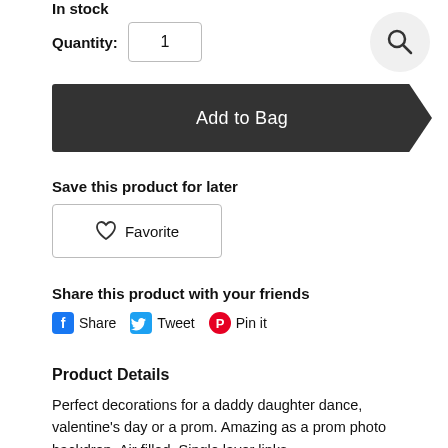In stock
Quantity: 1
Add to Bag
Save this product for later
Favorite
Share this product with your friends
Share  Tweet  Pin it
Product Details
Perfect decorations for a daddy daughter dance, valentine's day or a prom. Amazing as a prom photo backdrop. Air filled. Single layer links.